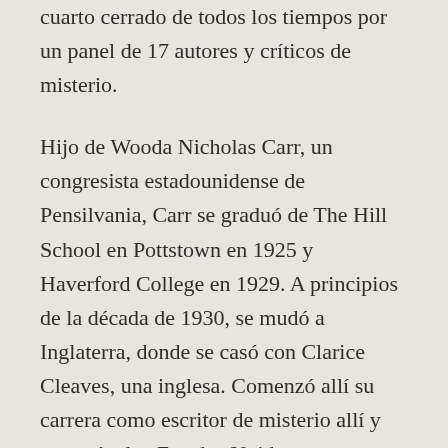cuarto cerrado de todos los tiempos por un panel de 17 autores y críticos de misterio.
Hijo de Wooda Nicholas Carr, un congresista estadounidense de Pensilvania, Carr se graduó de The Hill School en Pottstown en 1925 y Haverford College en 1929. A principios de la década de 1930, se mudó a Inglaterra, donde se casó con Clarice Cleaves, una inglesa. Comenzó allí su carrera como escritor de misterio allí y regresó a los Estados Unidos como autor de renombre internacional en 1948.
En 1950, su biografía de Sir Arthur Conan Doyle le valió a Carr el primero de sus dos premios especiales Edgar de Mystery Writers of America; el segundo fue otorgado en 1970, en